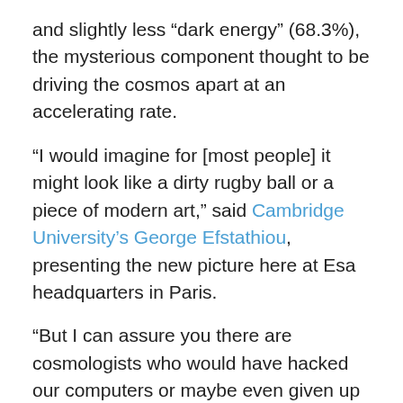and slightly less “dark energy” (68.3%), the mysterious component thought to be driving the cosmos apart at an accelerating rate.
“I would imagine for [most people] it might look like a dirty rugby ball or a piece of modern art,” said Cambridge University’s George Efstathiou, presenting the new picture here at Esa headquarters in Paris.
“But I can assure you there are cosmologists who would have hacked our computers or maybe even given up their children to get hold of this map, we’re so excited by it.”
Planck is the third western satellite to study the CMB. The two previous efforts – COBE and WMAP – were led by the US space agency (Nasa). The Soviets also had an experiment in space in the 1980s that they called Relikt-1.